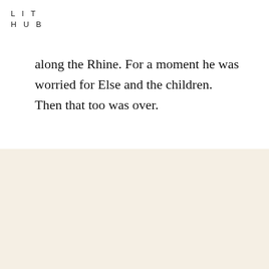LIT
HUB
along the Rhine. For a moment he was worried for Else and the children. Then that too was over.
The Best of the Literary Internet, Every Day.
Top literature stories from over 200 sources.